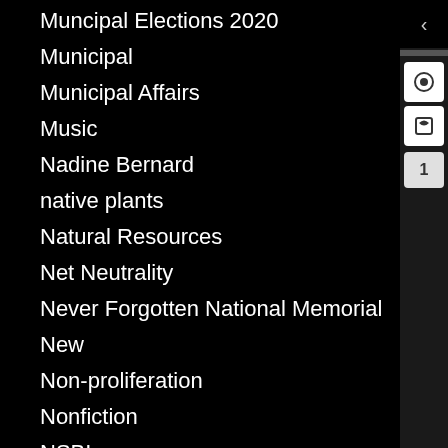Muncipal Elections 2020
Municipal
Municipal Affairs
Music
Nadine Bernard
native plants
Natural Resources
Net Neutrality
Never Forgotten National Memorial
New
Non-proliferation
Nonfiction
NSBI
Nuclear
Nuclear Waste
Oil and Gas
Painting